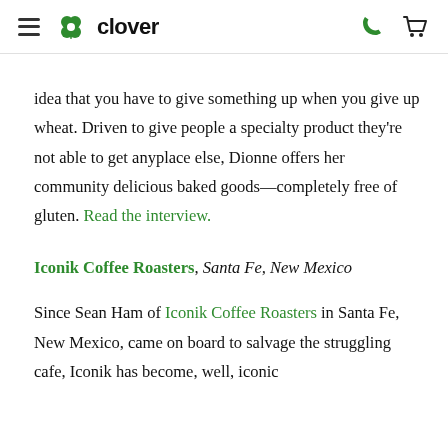clover
idea that you have to give something up when you give up wheat. Driven to give people a specialty product they're not able to get anyplace else, Dionne offers her community delicious baked goods—completely free of gluten. Read the interview.
Iconik Coffee Roasters, Santa Fe, New Mexico
Since Sean Ham of Iconik Coffee Roasters in Santa Fe, New Mexico, came on board to salvage the struggling cafe, Iconik has become, well, iconic